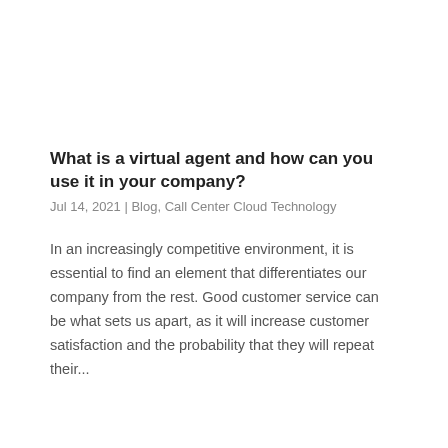What is a virtual agent and how can you use it in your company?
Jul 14, 2021 | Blog, Call Center Cloud Technology
In an increasingly competitive environment, it is essential to find an element that differentiates our company from the rest. Good customer service can be what sets us apart, as it will increase customer satisfaction and the probability that they will repeat their...